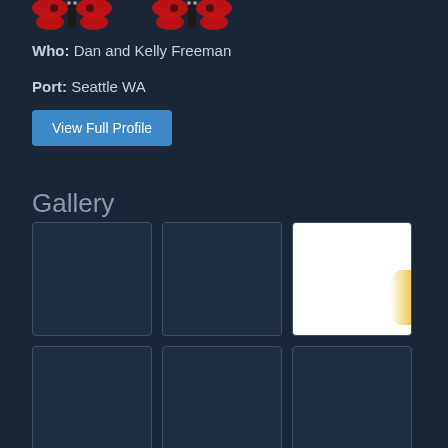[Figure (illustration): Butterfly pixel art icon showing two red and black butterflies side by side on dark background]
Who: Dan and Kelly Freeman
Port: Seattle WA
View Full Profile
Gallery
[Figure (photo): Gallery grid of 6 image thumbnail placeholders in dark navy cells, with the third in the first row showing a mostly white image with a faint yellow blob]
[Figure (photo): Second row of three dark gallery thumbnail placeholders]